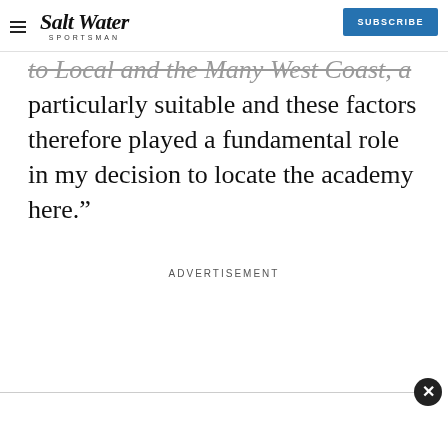Salt Water Sportsman — SUBSCRIBE
to Local and the Many West Coast, a particularly suitable and these factors therefore played a fundamental role in my decision to locate the academy here.”
ADVERTISEMENT